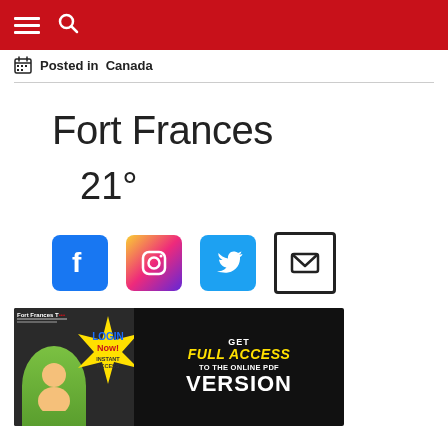[Figure (screenshot): Red navigation header bar with hamburger menu icon (three horizontal lines) and search magnifying glass icon]
Posted in  Canada
Fort Frances
21°
[Figure (infographic): Row of four social media icons: Facebook (blue), Instagram (gradient), Twitter (blue), Email/envelope (black outlined)]
[Figure (screenshot): Advertisement banner: Fort Frances Times newspaper with LOGIN Now! starburst and text GET FULL ACCESS TO THE ONLINE PDF VERSION]